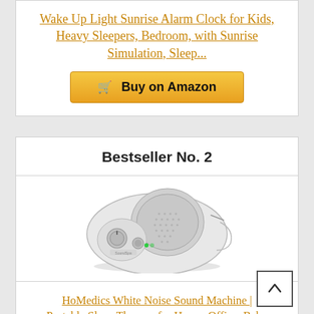Wake Up Light Sunrise Alarm Clock for Kids, Heavy Sleepers, Bedroom, with Sunrise Simulation, Sleep...
[Figure (other): Buy on Amazon button with shopping cart icon, gold/yellow gradient background]
Bestseller No. 2
[Figure (photo): HoMedics white noise sound machine product photo - a white oval-shaped device with speaker grille on top and control knobs]
HoMedics White Noise Sound Machine | Portable Sleep Therapy for Home, Office, Baby & Travel | 6...